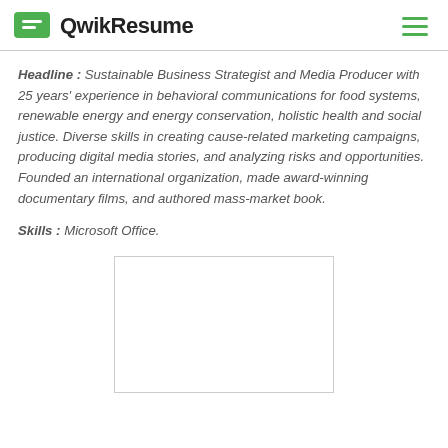QwikResume
Headline : Sustainable Business Strategist and Media Producer with 25 years' experience in behavioral communications for food systems, renewable energy and energy conservation, holistic health and social justice. Diverse skills in creating cause-related marketing campaigns, producing digital media stories, and analyzing risks and opportunities. Founded an international organization, made award-winning documentary films, and authored mass-market book.
Skills : Microsoft Office.
[Figure (other): Empty white rectangle placeholder image]